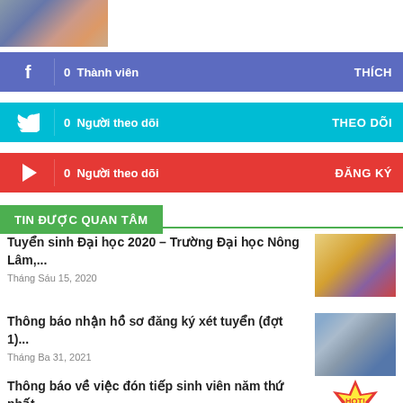[Figure (photo): Group photo of people in colorful attire at top left]
f  0  Thành viên    THÍCH
🐦  0  Người theo dõi    THEO DÕI
▶  0  Người theo dõi    ĐĂNG KÝ
TIN ĐƯỢC QUAN TÂM
Tuyển sinh Đại học 2020 – Trường Đại học Nông Lâm,...
Tháng Sáu 15, 2020
[Figure (photo): Group photo for university admissions news]
Thông báo nhận hồ sơ đăng ký xét tuyển (đợt 1)...
Tháng Ba 31, 2021
[Figure (photo): Outdoor group photo with trees and building]
Thông báo về việc đón tiếp sinh viên năm thứ nhất...
[Figure (illustration): Red and yellow starburst graphic]